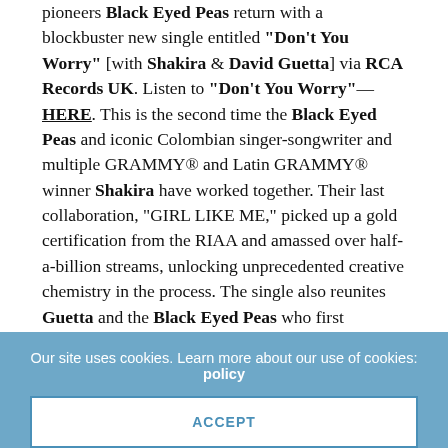pioneers Black Eyed Peas return with a blockbuster new single entitled "Don't You Worry" [with Shakira & David Guetta] via RCA Records UK. Listen to "Don't You Worry"—HERE. This is the second time the Black Eyed Peas and iconic Colombian singer-songwriter and multiple GRAMMY® and Latin GRAMMY® winner Shakira have worked together. Their last collaboration, "GIRL LIKE ME," picked up a gold certification from the RIAA and amassed over half-a-billion streams, unlocking unprecedented creative chemistry in the process. The single also reunites Guetta and the Black Eyed Peas who first collaborated in 2009 on the global #1 smash "I Gotta Feeling".
"Don't You Worry" sees Black Eyed Peas, Shakira, and Guetta level up together on the kind of international banger
Our site uses cookies. Learn more about our use of cookies: policy
ACCEPT